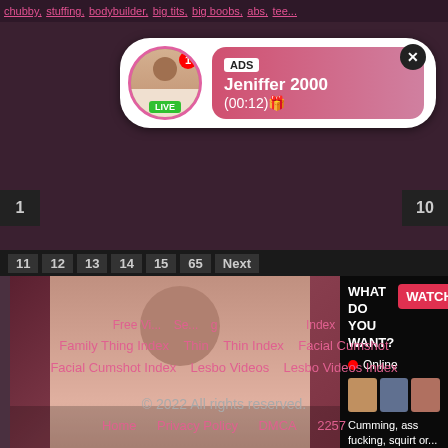chubby, stuffing, bodybuilder, big tits, big boobs, abs, tee...
[Figure (screenshot): Notification popup with avatar, LIVE badge, ADS label, username Jeniffer 2000, time (00:12), and close button]
1
10
11  12  13  14  15  65  Next
[Figure (photo): Main video thumbnail - woman]
[Figure (infographic): Ad panel with WHAT DO YOU WANT? text, WATCH button, Online indicator, 3 mini thumbnails, Cumming, ass fucking, squirt or... text, ADS label]
Free Vi... Index
Se... g
Family Thing Index    Thin    Thin Index    Facial Cumshot
Facial Cumshot Index    Lesbo Videos    Lesbo Videos Index
© 2022 All rights reserved.
Home    Privacy Policy    DMCA    2257